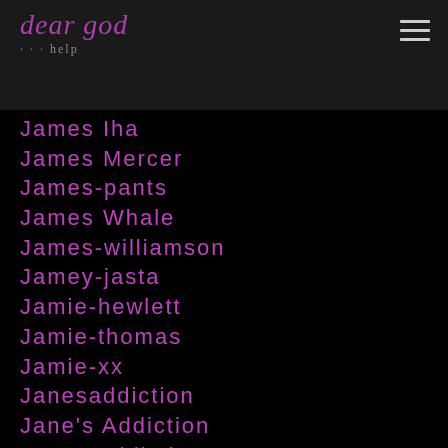dear god / help
James Iha
James Mercer
James-pants
James Whale
James-williamson
Jamey-jasta
Jamie-hewlett
Jamie-thomas
Jamie-xx
Janesaddiction
Jane's Addiction
Janes Addiction
Japan
Japanese-breakfast
Japanese-films
Jaredleto
Jarobiwhite